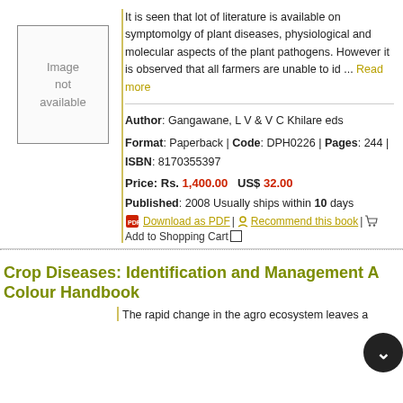[Figure (illustration): Image not available placeholder box]
It is seen that lot of literature is available on symptomolgy of plant diseases, physiological and molecular aspects of the plant pathogens. However it is observed that all farmers are unable to id ... Read more
Author: Gangawane, L V & V C Khilare eds
Format: Paperback | Code: DPH0226 | Pages: 244 | ISBN: 8170355397
Price: Rs. 1,400.00   US$ 32.00
Published: 2008 Usually ships within 10 days
Download as PDF | Recommend this book | Add to Shopping Cart
Crop Diseases: Identification and Management A Colour Handbook
The rapid change in the agro ecosystem leaves a